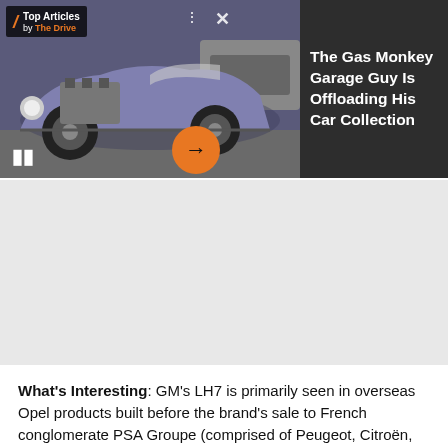[Figure (screenshot): Video player showing a custom hot rod car (rat rod) in a garage, with purple/blue paint, exposed engine. UI overlays: Top Articles badge, pause button, mute button, close X, three-dot menu, orange arrow button.]
The Gas Monkey Garage Guy Is Offloading His Car Collection
[Figure (other): Gray advertisement/banner placeholder area]
What's Interesting: GM's LH7 is primarily seen in overseas Opel products built before the brand's sale to French conglomerate PSA Groupe (comprised of Peugeot, Citroën, DS, Opel, and Vauxhall). With its short American cameo in a handful of Chevrolet and GMC vehicles between the 2016 and 2018 model years, the LH7 was one of a handful of